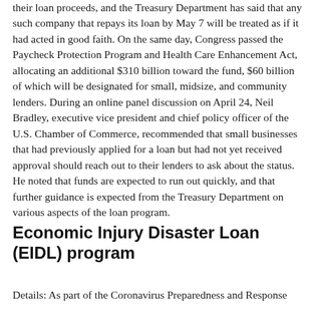their loan proceeds, and the Treasury Department has said that any such company that repays its loan by May 7 will be treated as if it had acted in good faith. On the same day, Congress passed the Paycheck Protection Program and Health Care Enhancement Act, allocating an additional $310 billion toward the fund, $60 billion of which will be designated for small, midsize, and community lenders. During an online panel discussion on April 24, Neil Bradley, executive vice president and chief policy officer of the U.S. Chamber of Commerce, recommended that small businesses that had previously applied for a loan but had not yet received approval should reach out to their lenders to ask about the status. He noted that funds are expected to run out quickly, and that further guidance is expected from the Treasury Department on various aspects of the loan program.
Economic Injury Disaster Loan (EIDL) program
Details: As part of the Coronavirus Preparedness and Response